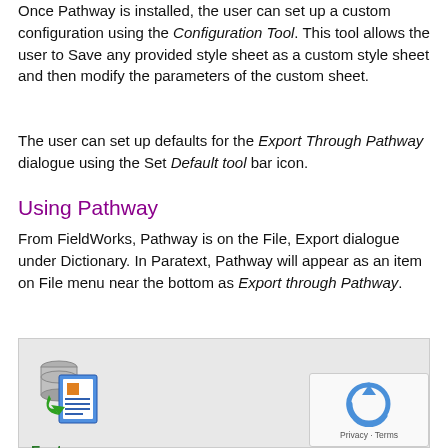Once Pathway is installed, the user can set up a custom configuration using the Configuration Tool. This tool allows the user to Save any provided style sheet as a custom style sheet and then modify the parameters of the custom sheet.
The user can set up defaults for the Export Through Pathway dialogue using the Set Default tool bar icon.
Using Pathway
From FieldWorks, Pathway is on the File, Export dialogue under Dictionary. In Paratext, Pathway will appear as an item on File menu near the bottom as Export through Pathway.
[Figure (illustration): Pathway software icon showing a database with a green arrow and a document with lines]
Features
How to install